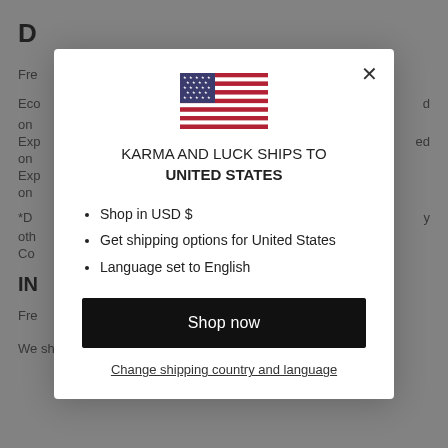D
Fre
Eco on Exp on Exp on
*D oth Co
IN
Fre
We ship with USPS and UPS.
[Figure (other): Modal dialog showing US flag and shipping information for Karma and Luck]
KARMA AND LUCK SHIPS TO UNITED STATES
Shop in USD $
Get shipping options for United States
Language set to English
Shop now
Change shipping country and language